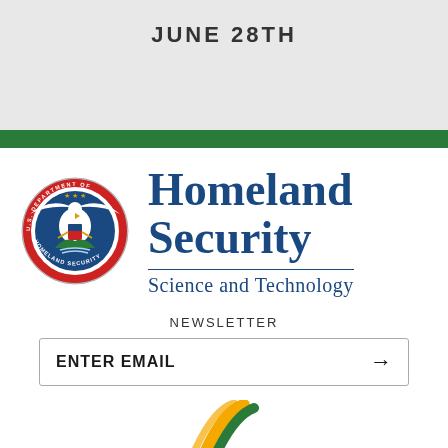JUNE 28TH
[Figure (logo): U.S. Department of Homeland Security official seal — circular emblem with eagle, blue and red details, grey border with text U.S. DEPARTMENT OF HOMELAND SECURITY around the perimeter]
Homeland Security
Science and Technology
NEWSLETTER
ENTER EMAIL →
[Figure (logo): Partial view of a stylized logo at the bottom with yellow and green diagonal brush strokes]